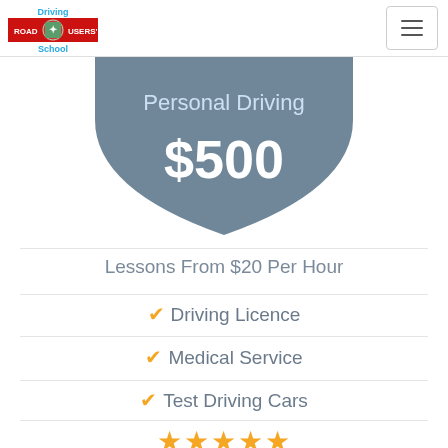[Figure (logo): Road Users' School driving school logo with red bar, compass-style icon, and blue text]
[Figure (infographic): Grey bowl/shield shape with 'Personal Driving' header and '$500' price in white text]
Lessons From $20 Per Hour
✓ Driving Licence
✓ Medical Service
✓ Test Driving Cars
[Figure (infographic): 5 orange/gold star rating icons]